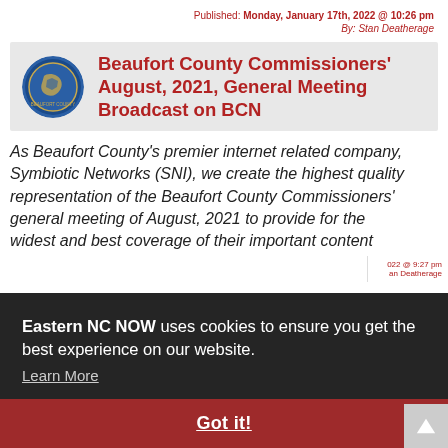Published: Monday, January 17th, 2022 @ 10:26 pm
By: Stan Deatherage
Beaufort County Commissioners' August, 2021, General Meeting Broadcast on BCN
As Beaufort County's premier internet related company, Symbiotic Networks (SNI), we create the highest quality representation of the Beaufort County Commissioners' general meeting of August, 2021 to provide for the widest and best coverage of their important content
Eastern NC NOW uses cookies to ensure you get the best experience on our website. Learn More
Got it!